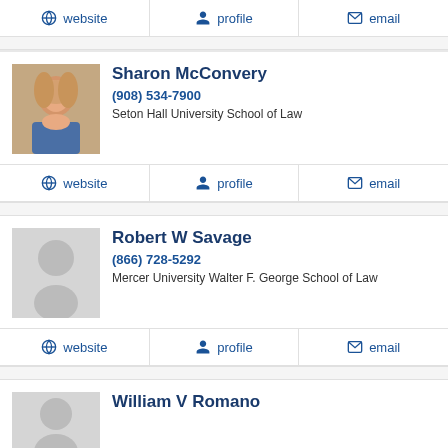website | profile | email (top action bar)
[Figure (photo): Photo of Sharon McConvery, a woman with blonde hair]
Sharon McConvery
(908) 534-7900
Seton Hall University School of Law
website | profile | email
[Figure (photo): Placeholder silhouette for Robert W Savage]
Robert W Savage
(866) 728-5292
Mercer University Walter F. George School of Law
website | profile | email
[Figure (photo): Placeholder silhouette for William V Romano]
William V Romano